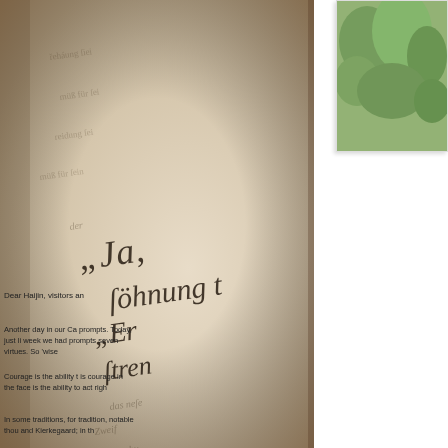[Figure (photo): Close-up photograph of an old book page with Gothic/blackletter German text, sepia-toned, showing words including 'Söhnung', 'Er', 'stren' and other Old German script, blurred background]
[Figure (photo): Small thumbnail photo of green foliage/trees, partially visible in top right corner]
Dear Haijin, visitors an
Another day in our Ca prompts. Today, just li week we had prompts seven virtues. So 'wise
Courage is the ability t is courage in the face is the ability to act righ
In some traditions, for tradition, notable thou and Kierkegaard; in th